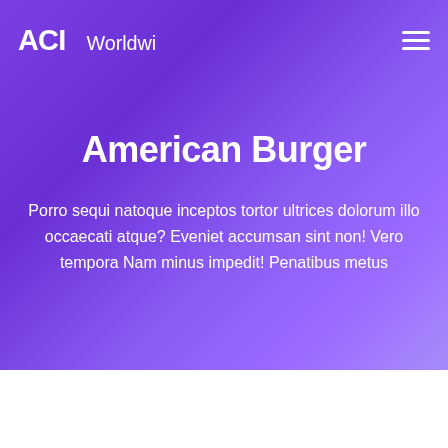[Figure (logo): ACI Worldwide logo in white on purple background]
American Burger
Porro sequi natoque inceptos tortor ultrices dolorum illo occaecati atque? Eveniet accumsan sint non! Vero tempora Nam minus impedit! Penatibus metus